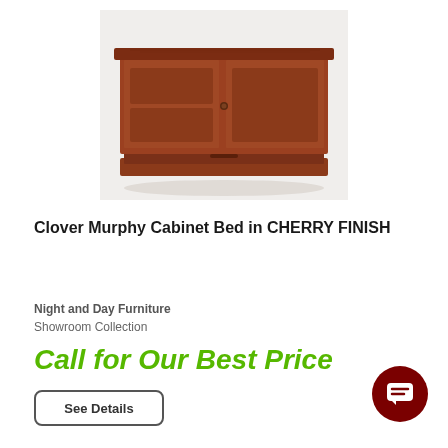[Figure (photo): A wooden cherry-finish cabinet bed (Murphy bed in closed/cabinet position), rectangular shape with paneled doors, small knob hardware, and a bottom drawer, photographed on white background.]
Clover Murphy Cabinet Bed in CHERRY FINISH
Night and Day Furniture
Showroom Collection
Call for Our Best Price
See Details